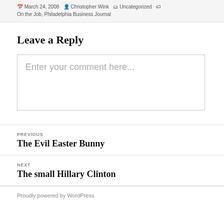March 24, 2008  Christopher Wink  Uncategorized  On the Job, Philadelphia Business Journal
Leave a Reply
Enter your comment here...
PREVIOUS
The Evil Easter Bunny
NEXT
The small Hillary Clinton
Proudly powered by WordPress